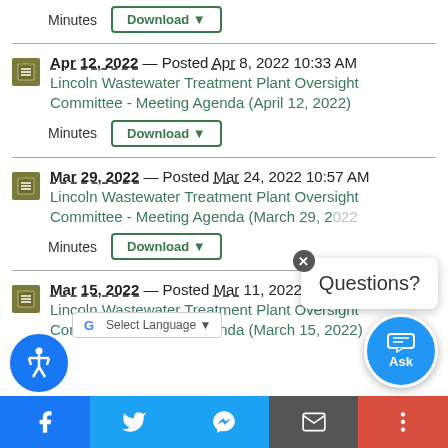Minutes
Download ▼
Apr 12, 2022 — Posted Apr 8, 2022 10:33 AM
Lincoln Wastewater Treatment Plant Oversight Committee - Meeting Agenda (April 12, 2022)
Minutes
Download ▼
Mar 29, 2022 — Posted Mar 24, 2022 10:57 AM
Lincoln Wastewater Treatment Plant Oversight Committee - Meeting Agenda (March 29, 2022)
Minutes
Download ▼
Mar 15, 2022 — Posted Mar 11, 2022 12:24 PM
Lincoln Wastewater Treatment Plant Oversight Committee - Meeting Agenda (March 15, 2022)
[Figure (infographic): Questions? popup overlay with close button and Ask chat circle button]
[Figure (infographic): Footer navigation bar with Facebook, Twitter, Messenger, Email, and More buttons; accessibility circle; Google Translate bar]